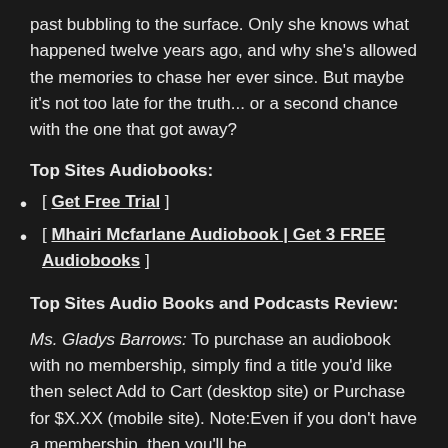past bubbling to the surface. Only she knows what happened twelve years ago, and why she's allowed the memories to chase her ever since. But maybe it's not too late for the truth... or a second chance with the one that got away?
Top Sites Audiobooks:
[ Get Free Trial ]
[ Mhairi Mcfarlane Audiobook | Get 3 FREE Audiobooks ]
Top Sites Audio Books and Podcasts Review:
Ms. Gladys Barrows: To purchase an audiobook with no membership, simply find a title you'd like then select Add to Cart (desktop site) or Purchase for $X.XX (mobile site). Note:Even if you don't have a membership, then you'll be